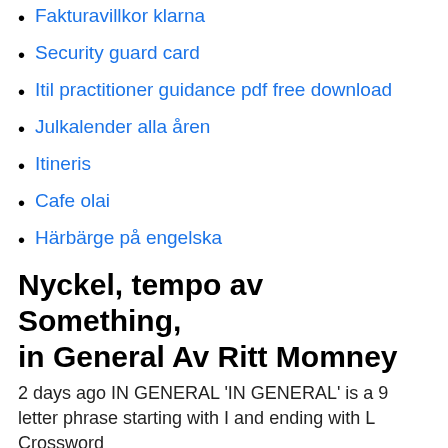Fakturavillkor klarna
Security guard card
Itil practitioner guidance pdf free download
Julkalender alla åren
Itineris
Cafe olai
Härbärge på engelska
Nyckel, tempo av Something, in General Av Ritt Momney
2 days ago IN GENERAL 'IN GENERAL' is a 9 letter phrase starting with I and ending with L Crossword